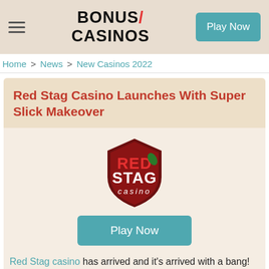BONUS/ CASINOS | Play Now
Home > News > New Casinos 2022
Red Stag Casino Launches With Super Slick Makeover
[Figure (logo): Red Stag Casino shield logo with red background and white text]
Play Now
Red Stag casino has arrived and it's arrived with a bang! This new US online casino has been given a slick...